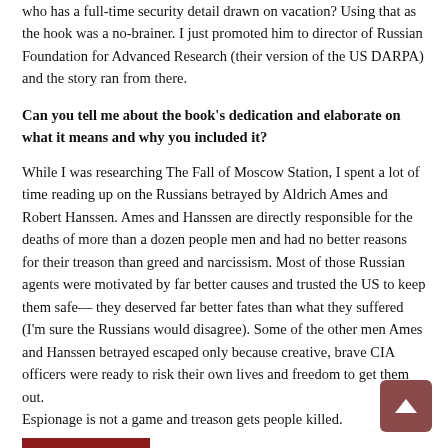who has a full-time security detail drawn on vacation? Using that as the hook was a no-brainer. I just promoted him to director of Russian Foundation for Advanced Research (their version of the US DARPA) and the story ran from there.
Can you tell me about the book's dedication and elaborate on what it means and why you included it?
While I was researching The Fall of Moscow Station, I spent a lot of time reading up on the Russians betrayed by Aldrich Ames and Robert Hanssen. Ames and Hanssen are directly responsible for the deaths of more than a dozen people men and had no better reasons for their treason than greed and narcissism. Most of those Russian agents were motivated by far better causes and trusted the US to keep them safe— they deserved far better fates than what they suffered (I'm sure the Russians would disagree). Some of the other men Ames and Hanssen betrayed escaped only because creative, brave CIA officers were ready to risk their own lives and freedom to get them out.
Espionage is not a game and treason gets people killed.